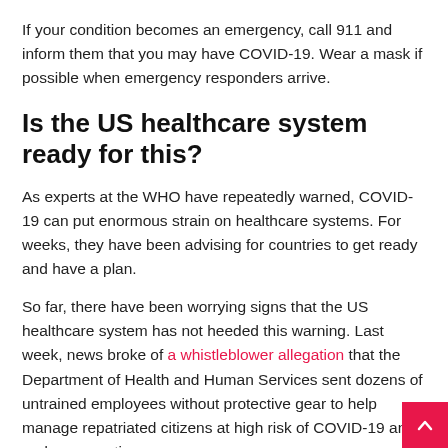If your condition becomes an emergency, call 911 and inform them that you may have COVID-19. Wear a mask if possible when emergency responders arrive.
Is the US healthcare system ready for this?
As experts at the WHO have repeatedly warned, COVID-19 can put enormous strain on healthcare systems. For weeks, they have been advising for countries to get ready and have a plan.
So far, there have been worrying signs that the US healthcare system has not heeded this warning. Last week, news broke of a whistleblower allegation that the Department of Health and Human Services sent dozens of untrained employees without protective gear to help manage repatriated citizens at high risk of COVID-19 and under quarantine.